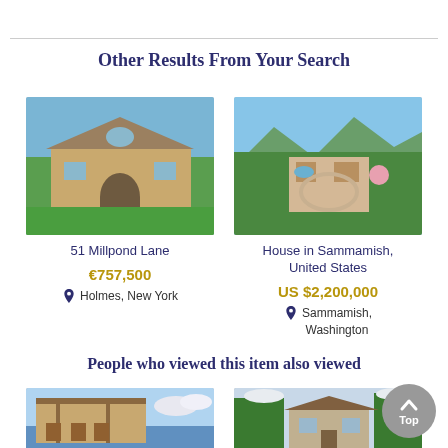Other Results From Your Search
[Figure (photo): Photo of 51 Millpond Lane property - a beige two-story house with large front lawn]
51 Millpond Lane
€757,500
Holmes, New York
[Figure (photo): Aerial photo of House in Sammamish, United States - large estate with circular driveway surrounded by trees]
House in Sammamish, United States
US $2,200,000
Sammamish, Washington
People who viewed this item also viewed
[Figure (photo): Photo of a lakefront property with covered patio/deck area]
[Figure (photo): Photo of a large house surrounded by trees]